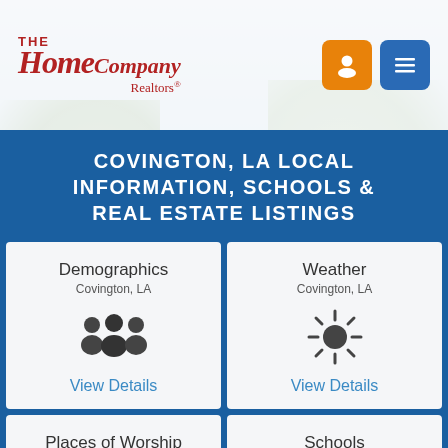[Figure (logo): The Home Company Realtors logo in red serif italic text with navigation icons (orange person icon, blue menu icon)]
COVINGTON, LA LOCAL INFORMATION, SCHOOLS & REAL ESTATE LISTINGS
[Figure (infographic): Demographics Covington, LA — three people silhouette icons — View Details]
[Figure (infographic): Weather Covington, LA — sun icon — View Details]
[Figure (infographic): Places of Worship Covington, LA — praying hands icon]
[Figure (infographic): Schools Covington, LA — school bus icon]